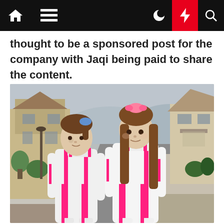[Navigation bar with home, menu, dark mode, lightning/highlight, and search icons]
thought to be a sponsored post for the company with Jaqi being paid to share the content.
[Figure (photo): Two young girls standing on a residential street, both wearing matching white and hot-pink striped tracksuits. The girl on the left has a blue scrunchie in her hair, and the girl on the right has a pink floral scrunchie. Houses and trees are visible in the background.]